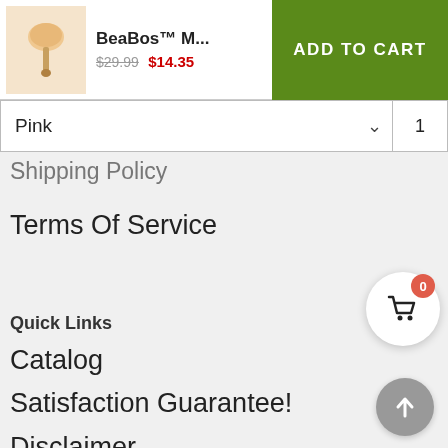BeaBos™ M... $29.99 $14.35 ADD TO CART
Refund Policy
Pink  1
Shipping Policy
Terms Of Service
Quick Links
Catalog
Satisfaction Guarantee!
Disclaimer